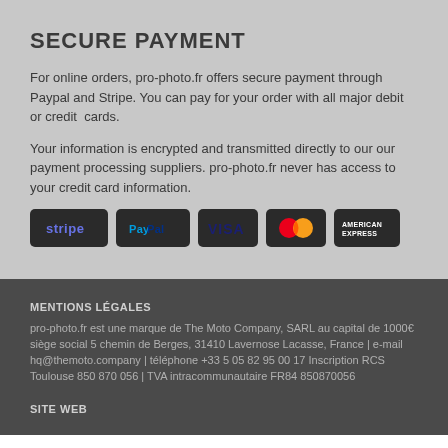SECURE PAYMENT
For online orders, pro-photo.fr offers secure payment through Paypal and Stripe. You can pay for your order with all major debit or credit cards.
Your information is encrypted and transmitted directly to our our payment processing suppliers. pro-photo.fr never has access to your credit card information.
[Figure (other): Payment method icons: Stripe, PayPal, VISA, Mastercard, American Express]
MENTIONS LÉGALES
pro-photo.fr est une marque de The Moto Company, SARL au capital de 1000€ siège social 5 chemin de Berges, 31410 Lavernose Lacasse, France | e-mail hq@themoto.company | téléphone +33 5 05 82 95 00 17 Inscription RCS Toulouse 850 870 056 | TVA intracommunautaire FR84 850870056
SITE WEB